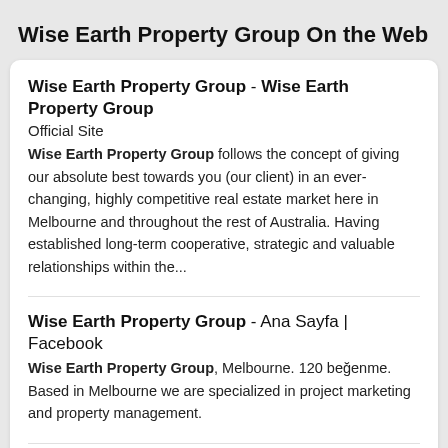Wise Earth Property Group On the Web
Wise Earth Property Group - Wise Earth Property Group
Official Site
Wise Earth Property Group follows the concept of giving our absolute best towards you (our client) in an ever-changing, highly competitive real estate market here in Melbourne and throughout the rest of Australia. Having established long-term cooperative, strategic and valuable relationships within the...
Wise Earth Property Group - Ana Sayfa | Facebook
Wise Earth Property Group, Melbourne. 120 beğenme. Based in Melbourne we are specialized in project marketing and property management.
Wise Earth Property Group - MELBOURNE - Real Estate Agency...
Here at Wise Earth Property Group we provide fully covered one-stop services in detailed fashion for both first time purchasers as well as seasoned investors, servicing local and oversea interests.